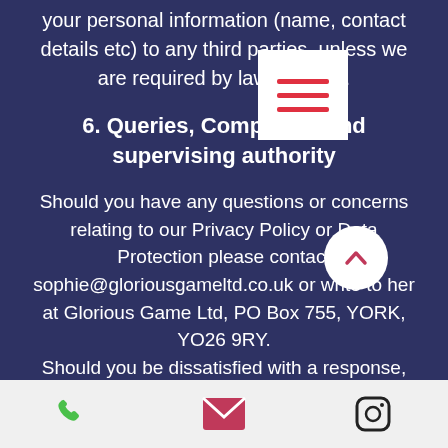your personal information (name, contact details etc) to any third parties, unless we are required by law to do so.
6. Queries, Complaints and supervising authority
Should you have any questions or concerns relating to our Privacy Policy or Data Protection please contact sophie@gloriousgameltd.co.uk or write to her at Glorious Game Ltd, PO Box 755, YORK, YO26 9RY. Should you be dissatisfied with a response, you can complain to our supervisory authority, ICO by telephoning 0303 123 113 or writing to Wycliffe